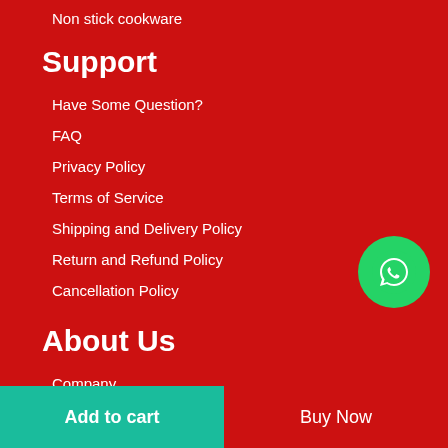Non stick cookware
Support
Have Some Question?
FAQ
Privacy Policy
Terms of Service
Shipping and Delivery Policy
Return and Refund Policy
Cancellation Policy
About Us
Company
News Room
[Figure (illustration): WhatsApp contact button - green circle with WhatsApp phone handset icon]
Add to cart
Buy Now